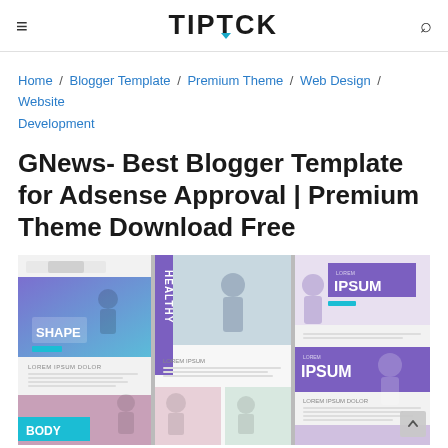TIPTOCK
Home / Blogger Template / Premium Theme / Web Design / Website Development
GNews- Best Blogger Template for Adsense Approval | Premium Theme Download Free
[Figure (screenshot): Three mobile website/blog template mockups showing fitness-themed designs with placeholder text like SHAPE, HEALTHY, LOREM IPSUM DOLOR, IPSUM, BODY]